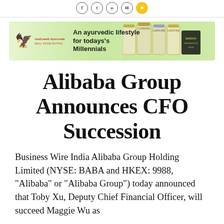Social media icons row
[Figure (illustration): Advertisement banner for Aadyansh Ayurveda with tagline 'An ayurvedic lifestyle for todays's Millennials' showing product bottles]
Alibaba Group Announces CFO Succession
Business Wire India Alibaba Group Holding Limited (NYSE: BABA and HKEX: 9988, “Alibaba” or “Alibaba Group”) today announced that Toby Xu, Deputy Chief Financial Officer, will succeed Maggie Wu as